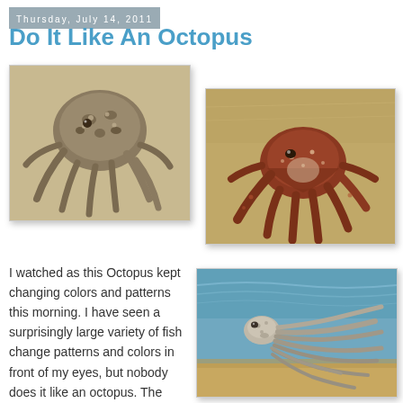Thursday, July 14, 2011
Do It Like An Octopus
[Figure (photo): Top-down view of a gray-brown octopus on a sandy surface]
[Figure (photo): Top-down view of a reddish-brown octopus with spread tentacles in shallow water]
I watched as this Octopus kept changing colors and patterns this morning. I have seen a surprisingly large variety of fish change patterns and colors in front of my eyes, but nobody does it like an octopus. The
[Figure (photo): Octopus swimming near sandy bottom with tentacles trailing behind in clear turquoise water]